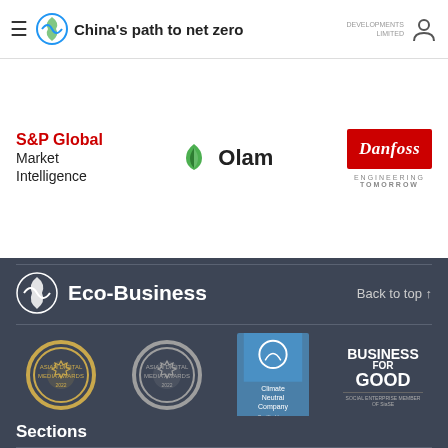China's path to net zero
[Figure (logo): S&P Global Market Intelligence logo]
[Figure (logo): Olam logo with green leaf icon]
[Figure (logo): Danfoss Engineering Tomorrow logo]
[Figure (logo): Eco-Business logo]
[Figure (logo): Asian Digital Media Awards gold badge]
[Figure (logo): Asian Digital Media Awards silver badge]
[Figure (logo): Climate Neutral Company certification badge]
[Figure (logo): Business for Good logo]
Sections
Home
Special Reports